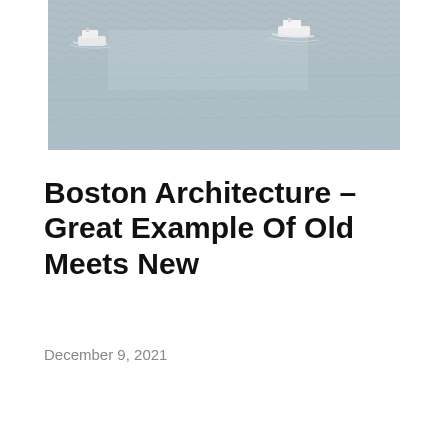[Figure (photo): Aerial or wide view of open water (harbor or bay) with two boats visible — one small white ferry/boat near top-left and another in the center-right, both leaving white wakes on blue-grey rippled water.]
Boston Architecture – Great Example Of Old Meets New
December 9, 2021